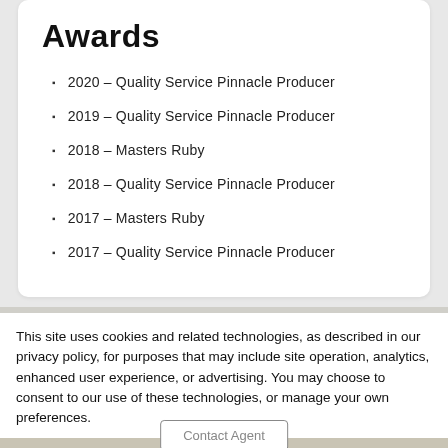Awards
2020 – Quality Service Pinnacle Producer
2019 – Quality Service Pinnacle Producer
2018 – Masters Ruby
2018 – Quality Service Pinnacle Producer
2017 – Masters Ruby
2017 – Quality Service Pinnacle Producer
This site uses cookies and related technologies, as described in our privacy policy, for purposes that may include site operation, analytics, enhanced user experience, or advertising. You may choose to consent to our use of these technologies, or manage your own preferences.